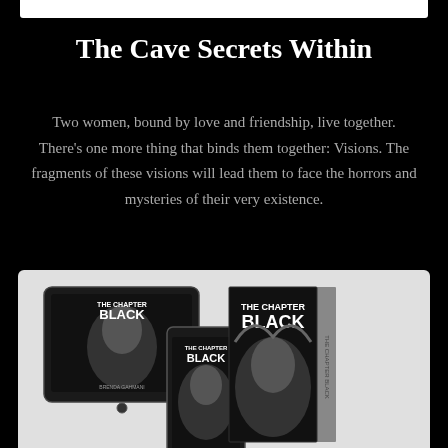The Cave Secrets Within
Two women, bound by love and friendship, live together. There's one more thing that binds them together: Visions. The fragments of these visions will lead them to face the horrors and mysteries of their very existence.
[Figure (photo): Product mockup showing 'The Chapter Black' book in three formats: a tablet/e-reader, a smartphone, and a physical hardcover book. All three show the same cover with a woman's face and text 'THE CHAPTER BLACK'. Black and white image on a light gray background.]